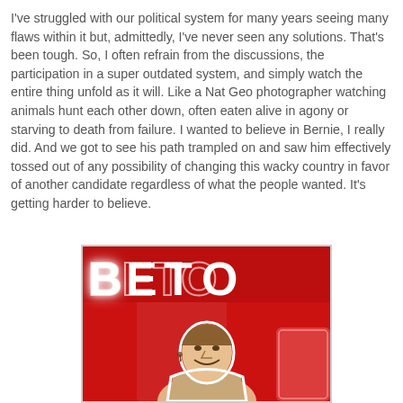I've struggled with our political system for many years seeing many flaws within it but, admittedly, I've never seen any solutions. That's been tough. So, I often refrain from the discussions, the participation in a super outdated system, and simply watch the entire thing unfold as it will. Like a Nat Geo photographer watching animals hunt each other down, often eaten alive in agony or starving to death from failure. I wanted to believe in Bernie, I really did. And we got to see his path trampled on and saw him effectively tossed out of any possibility of changing this wacky country in favor of another candidate regardless of what the people wanted. It's getting harder to believe.
[Figure (photo): Photo of a man (Beto O'Rourke) shown as a cutout illustration with a white outline, smiling, against a bright red background with neon letters spelling BETO.]